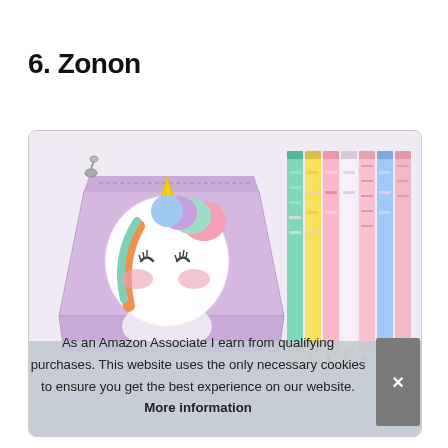6. Zonon
[Figure (photo): A purple unicorn pencil case/pouch with a cute unicorn design, shown alongside multiple colorful patterned pencils in various designs including flamingos, unicorns, and ice cream patterns.]
As an Amazon Associate I earn from qualifying purchases. This website uses the only necessary cookies to ensure you get the best experience on our website. More information